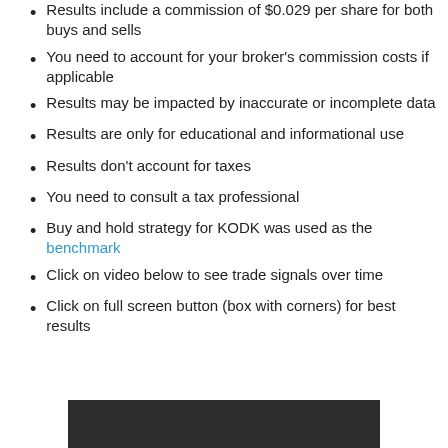Results include a commission of $0.029 per share for both buys and sells
You need to account for your broker's commission costs if applicable
Results may be impacted by inaccurate or incomplete data
Results are only for educational and informational use
Results don't account for taxes
You need to consult a tax professional
Buy and hold strategy for KODK was used as the benchmark
Click on video below to see trade signals over time
Click on full screen button (box with corners) for best results
[Figure (screenshot): Dark video player area at the bottom of the page]